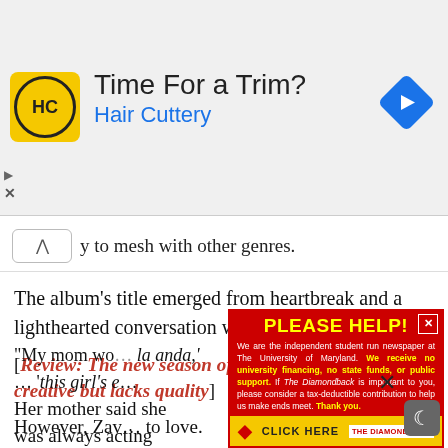[Figure (advertisement): Hair Cuttery ad banner with HC logo, 'Time For a Trim?' headline, 'Hair Cuttery' subtitle in blue, and navigation arrow icon on right]
y to mesh with other genres.
The album's title emerged from heartbreak and a lighthearted conversation with her mother.
[Review: The new season of 'Dear White People' is creative but lacks quality]
Her mother said she was always acting “amargada,” or “bitter.”
“My mom wo… la anda,’ … ‘this girl’s e…
[Figure (advertisement): The Diamondback PLEASE HELP donation appeal ad in red with yellow text, and a CLICK HERE button bar at bottom]
However, Zav… to love.